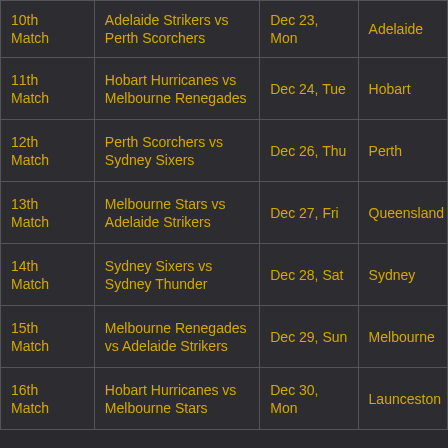| Match | Teams | Date | Venue |
| --- | --- | --- | --- |
| 10th Match | Adelaide Strikers vs Perth Scorchers | Dec 23, Mon | Adelaide |
| 11th Match | Hobart Hurricanes vs Melbourne Renegades | Dec 24, Tue | Hobart |
| 12th Match | Perth Scorchers vs Sydney Sixers | Dec 26, Thu | Perth |
| 13th Match | Melbourne Stars vs Adelaide Strikers | Dec 27, Fri | Queensland |
| 14th Match | Sydney Sixers vs Sydney Thunder | Dec 28, Sat | Sydney |
| 15th Match | Melbourne Renegades vs Adelaide Strikers | Dec 29, Sun | Melbourne |
| 16th Match | Hobart Hurricanes vs Melbourne Stars | Dec 30, Mon | Launceston |